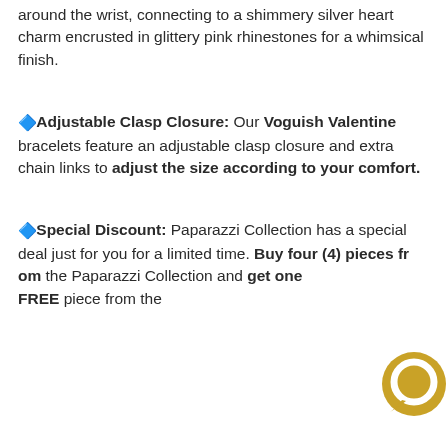around the wrist, connecting to a shimmery silver heart charm encrusted in glittery pink rhinestones for a whimsical finish.
🔷 Adjustable Clasp Closure: Our Voguish Valentine bracelets feature an adjustable clasp closure and extra chain links to adjust the size according to your comfort.
🔷 Special Discount: Paparazzi Collection has a special deal just for you for a limited time. Buy four (4) pieces from the Paparazzi Collection and get one FREE piece from the